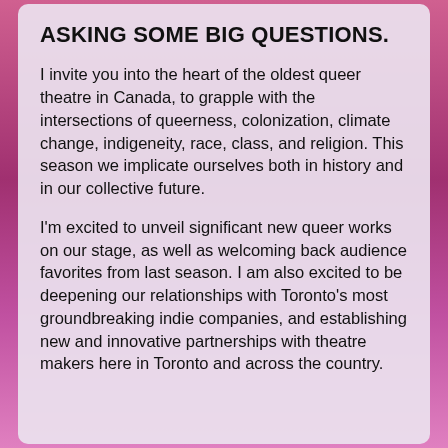ASKING SOME BIG QUESTIONS.
I invite you into the heart of the oldest queer theatre in Canada, to grapple with the intersections of queerness, colonization, climate change, indigeneity, race, class, and religion. This season we implicate ourselves both in history and in our collective future.
I'm excited to unveil significant new queer works on our stage, as well as welcoming back audience favorites from last season. I am also excited to be deepening our relationships with Toronto's most groundbreaking indie companies, and establishing new and innovative partnerships with theatre makers here in Toronto and across the country.